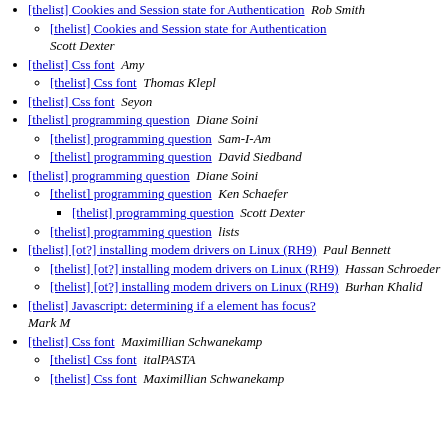[thelist] Cookies and Session state for Authentication  Rob Smith
[thelist] Cookies and Session state for Authentication  Scott Dexter
[thelist] Css font  Amy
[thelist] Css font  Thomas Klepl
[thelist] Css font  Seyon
[thelist] programming question  Diane Soini
[thelist] programming question  Sam-I-Am
[thelist] programming question  David Siedband
[thelist] programming question  Diane Soini
[thelist] programming question  Ken Schaefer
[thelist] programming question  Scott Dexter
[thelist] programming question  lists
[thelist] [ot?] installing modem drivers on Linux (RH9)  Paul Bennett
[thelist] [ot?] installing modem drivers on Linux (RH9)  Hassan Schroeder
[thelist] [ot?] installing modem drivers on Linux (RH9)  Burhan Khalid
[thelist] Javascript: determining if a element has focus?  Mark M
[thelist] Css font  Maximillian Schwanekamp
[thelist] Css font  italPASTA
[thelist] Css font  Maximillian Schwanekamp